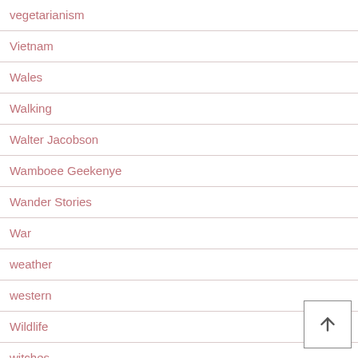vegetarianism
Vietnam
Wales
Walking
Walter Jacobson
Wamboee Geekenye
Wander Stories
War
weather
western
Wildlife
witches
Womans Fiction
Working Holidays